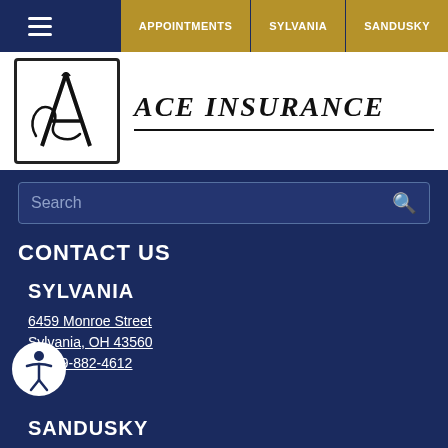APPOINTMENTS  SYLVANIA  SANDUSKY
[Figure (logo): Ace Insurance logo with stylized letter A in a square box, followed by ACE INSURANCE text in bold italic serif font]
Search
CONTACT US
SYLVANIA
6459 Monroe Street
Sylvania, OH 43560
P: 419-882-4612
SANDUSKY